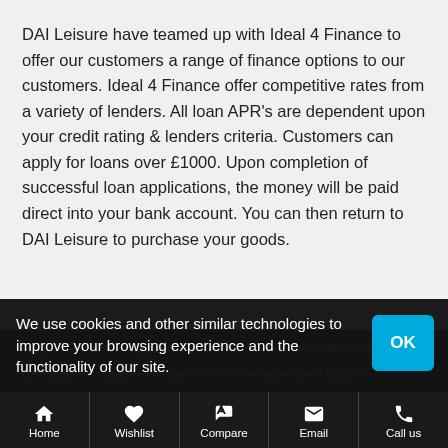DAI Leisure have teamed up with Ideal 4 Finance to offer our customers a range of finance options to our customers. Ideal 4 Finance offer competitive rates from a variety of lenders. All loan APR's are dependent upon your credit rating & lenders criteria. Customers can apply for loans over £1000. Upon completion of successful loan applications, the money will be paid direct into your bank account. You can then return to DAI Leisure to purchase your goods.
We use cookies and other similar technologies to improve your browsing experience and the functionality of our site.
Home | Wishlist | Compare | Email | Call us